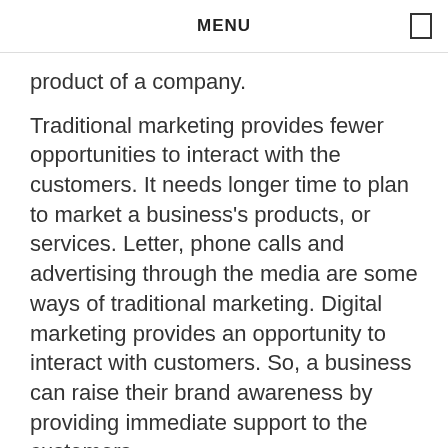MENU
product of a company.
Traditional marketing provides fewer opportunities to interact with the customers. It needs longer time to plan to market a business's products, or services. Letter, phone calls and advertising through the media are some ways of traditional marketing. Digital marketing provides an opportunity to interact with customers. So, a business can raise their brand awareness by providing immediate support to the customers.
[Figure (illustration): Thumbnail image showing traditional vs digital marketing comparison illustration with VS text and icons]
8
Traditional And Digital Marketing Difference